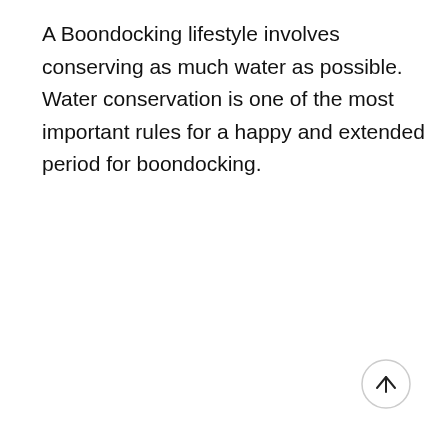A Boondocking lifestyle involves conserving as much water as possible. Water conservation is one of the most important rules for a happy and extended period for boondocking.
[Figure (other): A circular button with a light gray border containing an upward-pointing arrow, used as a scroll-to-top UI element.]